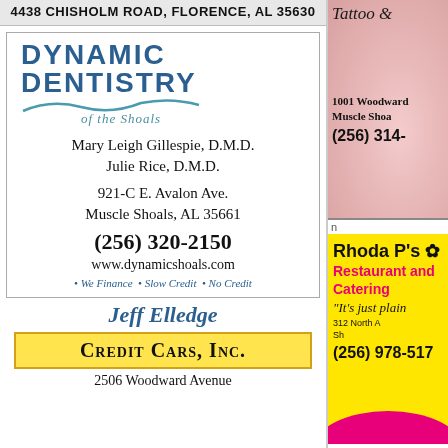4438 CHISHOLM ROAD, FLORENCE, AL 35630
[Figure (logo): Dynamic Dentistry of the Shoals logo with stylized tooth graphic]
Mary Leigh Gillespie, D.M.D.
Julie Rice, D.M.D.
921-C E. Avalon Ave.
Muscle Shoals, AL 35661
(256) 320-2150
www.dynamicshoals.com
• We Finance • Slow Credit • No Credit
Jeff Elledge
Credit Cars, Inc.
2506 Woodward Avenue
[Figure (illustration): Tattoo shop decorative illustration with skulls and flowers]
Tattoo &
1001 Woodward
Muscle Shoa
(256) 314-
Rhoda P's
Restaurant and
Catering
"It's just plain
312 North A
Sh
(256) 978-517